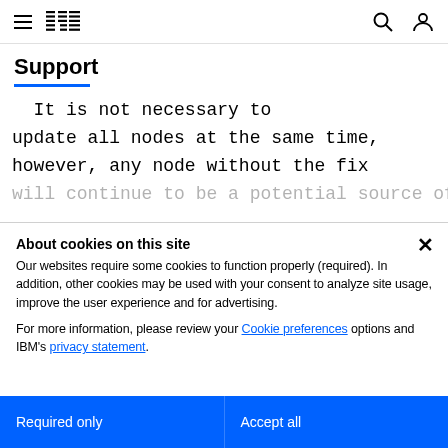IBM Support
Support
It is not necessary to update all nodes at the same time, however, any node without the fix will continue to be a potential source of
About cookies on this site
Our websites require some cookies to function properly (required). In addition, other cookies may be used with your consent to analyze site usage, improve the user experience and for advertising.

For more information, please review your Cookie preferences options and IBM's privacy statement.
Required only
Accept all